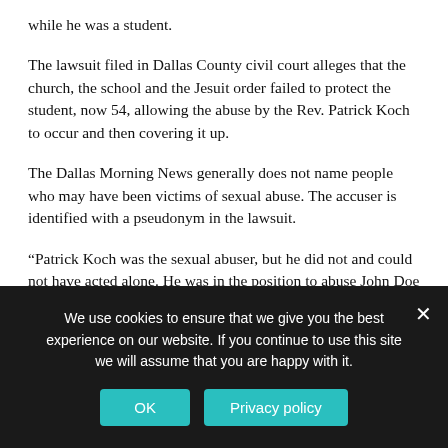while he was a student.
The lawsuit filed in Dallas County civil court alleges that the church, the school and the Jesuit order failed to protect the student, now 54, allowing the abuse by the Rev. Patrick Koch to occur and then covering it up.
The Dallas Morning News generally does not name people who may have been victims of sexual abuse. The accuser is identified with a pseudonym in the lawsuit.
“Patrick Koch was the sexual abuser, but he did not and could not have acted alone. He was in the position to abuse John Doe because of the actions of the defendants in this case and their cover-up of the dangers at the school, the danger of Patrick Koch and the systemic crisis,” the lawsuit says. Jesuit
We use cookies to ensure that we give you the best experience on our website. If you continue to use this site we will assume that you are happy with it.